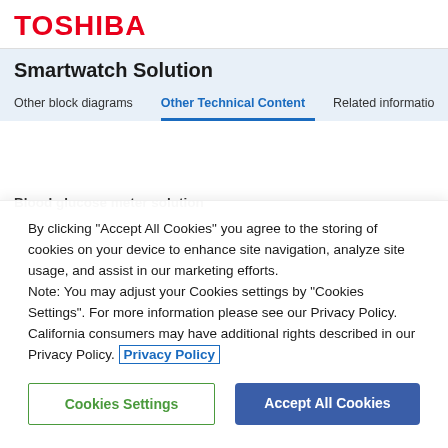TOSHIBA
Smartwatch Solution
Other block diagrams  Other Technical Content  Related information
Blood glucose meter solution
By clicking “Accept All Cookies” you agree to the storing of cookies on your device to enhance site navigation, analyze site usage, and assist in our marketing efforts.
Note: You may adjust your Cookies settings by “Cookies Settings”. For more information please see our Privacy Policy. California consumers may have additional rights described in our Privacy Policy. Privacy Policy
Cookies Settings
Accept All Cookies